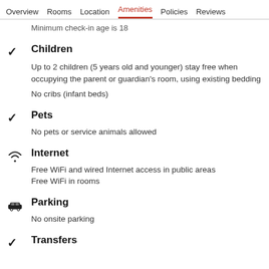Overview  Rooms  Location  Amenities  Policies  Reviews
Minimum check-in age is 18
Children
Up to 2 children (5 years old and younger) stay free when occupying the parent or guardian's room, using existing bedding
No cribs (infant beds)
Pets
No pets or service animals allowed
Internet
Free WiFi and wired Internet access in public areas
Free WiFi in rooms
Parking
No onsite parking
Transfers